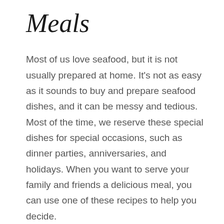Meals
Most of us love seafood, but it is not usually prepared at home. It's not as easy as it sounds to buy and prepare seafood dishes, and it can be messy and tedious. Most of the time, we reserve these special dishes for special occasions, such as dinner parties, anniversaries, and holidays. When you want to serve your family and friends a delicious meal, you can use one of these recipes to help you decide.
Many people enjoy eating seafood, especially during the summer. In addition to being delicious and healthy, seafood contains many